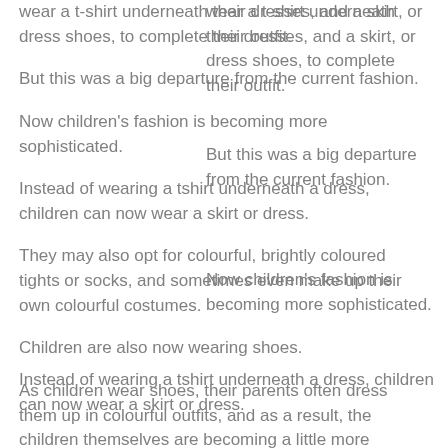wear a t-shirt underneath their dresses, and a skirt, or dress shoes, to complete their outfit.
But this was a big departure from the current fashion.
Now children's fashion is becoming more sophisticated.
Instead of wearing a tshirt underneath a dress, children can now wear a skirt or dress.
They may also opt for colourful, brightly coloured tights or socks, and sometimes even make up their own colourful costumes.
Children are also now wearing shoes.
As children wear shoes, their parents often dress them up in colourful outfits, and as a result, the children themselves are becoming a little more independent.